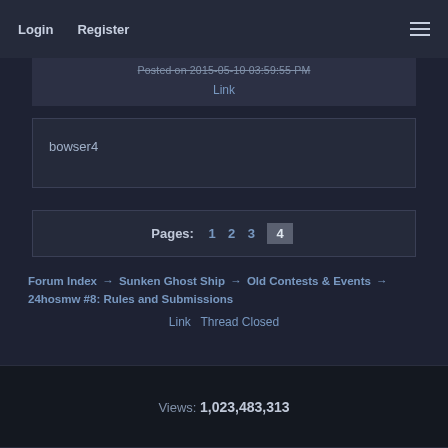Login   Register
Posted on 2015-05-10 03:59:55 PM
Link
bowser4
Pages: 1 2 3 4
Forum Index → Sunken Ghost Ship → Old Contests & Events → 24hosmw #8: Rules and Submissions
Link   Thread Closed
Views: 1,023,483,313